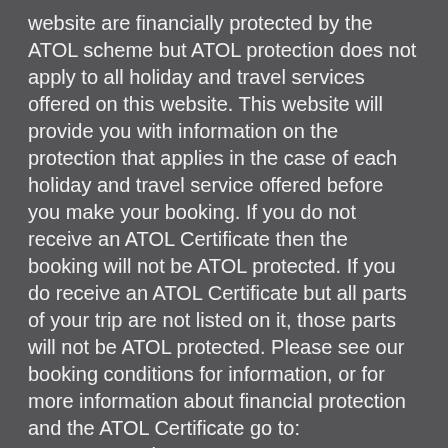website are financially protected by the ATOL scheme but ATOL protection does not apply to all holiday and travel services offered on this website. This website will provide you with information on the protection that applies in the case of each holiday and travel service offered before you make your booking. If you do not receive an ATOL Certificate then the booking will not be ATOL protected. If you do receive an ATOL Certificate but all parts of your trip are not listed on it, those parts will not be ATOL protected. Please see our booking conditions for information, or for more information about financial protection and the ATOL Certificate go to: www.caa.co.uk
BOOKING TERMS
You can read our agency terms here: Agency T&C's